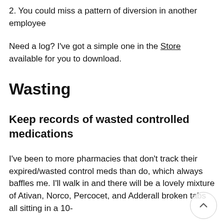2. You could miss a pattern of diversion in another employee
Need a log? I've got a simple one in the Store available for you to download.
Wasting
Keep records of wasted controlled medications
I've been to more pharmacies that don't track their expired/wasted control meds than do, which always baffles me. I'll walk in and there will be a lovely mixture of Ativan, Norco, Percocet, and Adderall broken tabs all sitting in a 10-